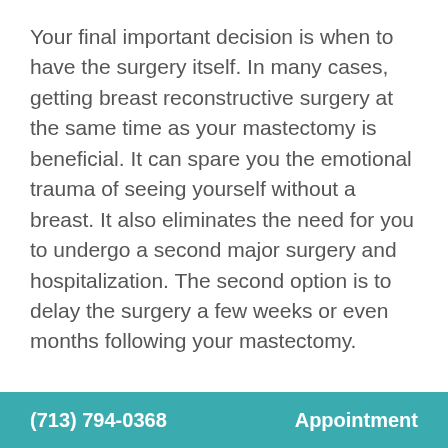Your final important decision is when to have the surgery itself.  In many cases, getting breast reconstructive surgery at the same time as your mastectomy is beneficial.  It can spare you the emotional trauma of seeing yourself without a breast.  It also eliminates the need for you to undergo a second major surgery and hospitalization.  The second option is to delay the surgery a few weeks or even months following your mastectomy.
There is no time limit, so take all the time you need.  In most cases, it is considered preferable if you take care of your breast reconstructive surgery immediately, but not at the cost of your
(713) 794-0368    Appointment